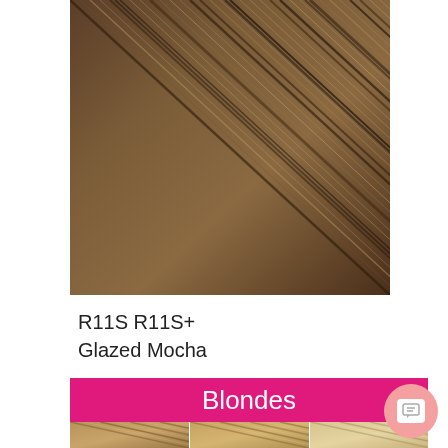[Figure (photo): Close-up hair color swatch showing R11S R11S+ Glazed Mocha — medium brown with warm highlights, strands visible]
R11S R11S+
Glazed Mocha
Blondes
[Figure (photo): Three blonde hair color swatches shown side by side at bottom of page]